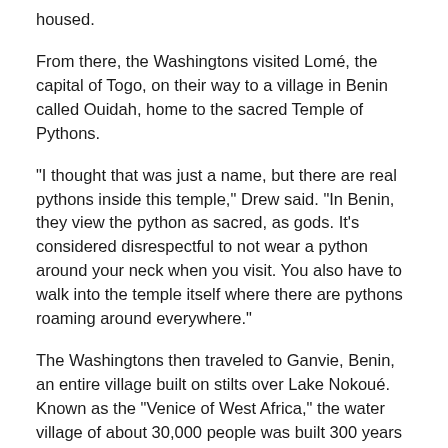housed.
From there, the Washingtons visited Lomé, the capital of Togo, on their way to a village in Benin called Ouidah, home to the sacred Temple of Pythons.
“I thought that was just a name, but there are real pythons inside this temple,” Drew said. “In Benin, they view the python as sacred, as gods. It’s considered disrespectful to not wear a python around your neck when you visit. You also have to walk into the temple itself where there are pythons roaming around everywhere.”
The Washingtons then traveled to Ganvie, Benin, an entire village built on stilts over Lake Nokoué. Known as the “Venice of West Africa,” the water village of about 30,000 people was built 300 years ago as a defense mechanism during the slave trade.
“They row boats to go anywhere,” Drew said. “A typical family has three boats: one for the father to fish, another for the mother to sell the fish in the market and the third for the children to go to school. They have a hospital, a hotel, a